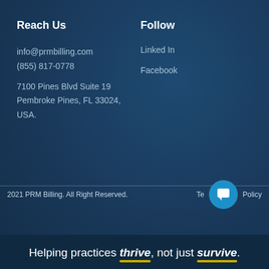Reach Us
info@prmbilling.com
(855) 817-0778
7100 Pines Blvd Suite 19
Pembroke Pines, FL 33024,
USA.
Follow
Linked In
Facebook
2021 PRM Billing. All Right Reserved.   Te... Policy
Helping practices thrive, not just survive.